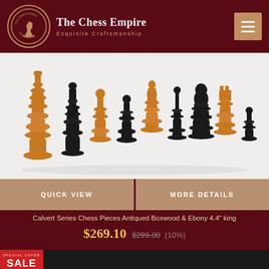The Chess Empire — Exquisite Craftsmanship
[Figure (photo): Photo of Calvert Series chess pieces in antiqued boxwood and ebony, showing multiple pieces of different types lined up]
QUICK VIEW   MORE DETAILS
Calvert Series Chess Pieces Antiqued Boxwood & Ebony 4.4" king
$269.10 $299.00 (10%)
[Figure (photo): Partial view of another chess product with SALE badge, bottom of page]